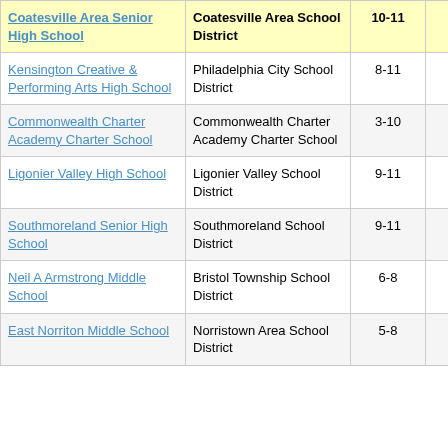| School | District | Grades | Value |
| --- | --- | --- | --- |
| Coatesville Area Senior High School | Coatesville Area School District | 10-11 | 7.9 |
| Kensington Creative & Performing Arts High School | Philadelphia City School District | 8-11 | -11.0 |
| Commonwealth Charter Academy Charter School | Commonwealth Charter Academy Charter School | 3-10 | -6.2 |
| Ligonier Valley High School | Ligonier Valley School District | 9-11 | -9.6 |
| Southmoreland Senior High School | Southmoreland School District | 9-11 | -15.6 |
| Neil A Armstrong Middle School | Bristol Township School District | 6-8 | -21.1 |
| East Norriton Middle School | Norristown Area School District | 5-8 | -14.9 |